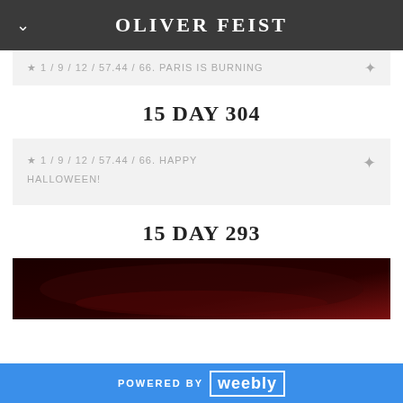OLIVER FEIST
★ 1 / 9 / 12 / 57.44 / 66. PARIS IS BURNING
15 DAY 304
★ 1 / 9 / 12 / 57.44 / 66. HAPPY HALLOWEEN!
15 DAY 293
[Figure (photo): Dark reddish-toned image, partially visible at the bottom of the page]
POWERED BY weebly